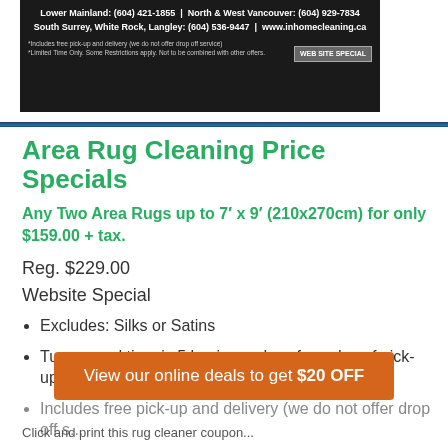[Figure (other): Dark advertisement banner for in-home cleaning service with phone numbers: Lower Mainland: (604) 421-1855, North & West Vancouver: (604) 929-7834, South Surrey, White Rock, Langley: (604) 536-9447, www.inhomecleaning.ca. Includes fine print about free pick-up and delivery and a WEB SITE SPECIAL button.]
Area Rug Cleaning Price Specials
Any Two Area Rugs up to 7′ x 9′ (210x270cm) for only $159.00 + tax.
Reg. $229.00
Website Special
Excludes: Silks or Satins
Turnaround time is 5 business days from day of pick-up.
Includes free pick-up and delivery (we do not offer drop off s...
View our online deals to get $20 OFF
Click and print this rug cleaner coupon...